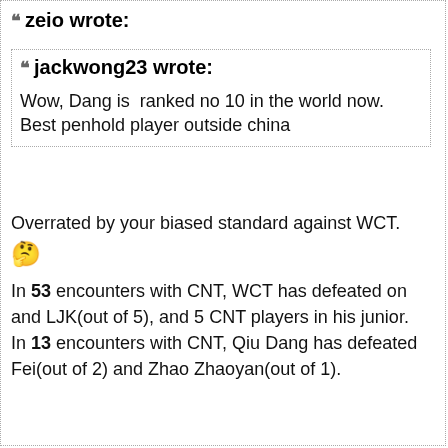zeio wrote:
jackwong23 wrote:
Wow, Dang is  ranked no 10 in the world now. Best penhold player outside china
Overrated by your biased standard against WCT.
In 53 encounters with CNT, WCT has defeated on and LJK(out of 5), and 5 CNT players in his junior. In 13 encounters with CNT, Qiu Dang has defeated Fei(out of 2) and Zhao Zhaoyan(out of 1).